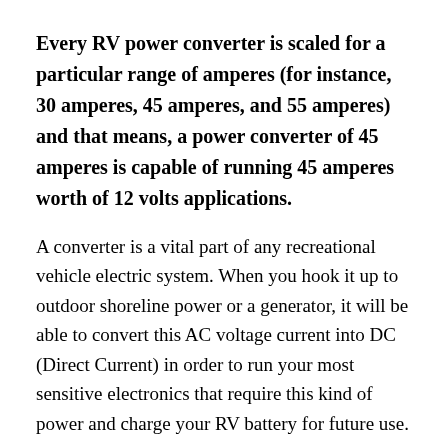Every RV power converter is scaled for a particular range of amperes (for instance, 30 amperes, 45 amperes, and 55 amperes) and that means, a power converter of 45 amperes is capable of running 45 amperes worth of 12 volts applications.
A converter is a vital part of any recreational vehicle electric system. When you hook it up to outdoor shoreline power or a generator, it will be able to convert this AC voltage current into DC (Direct Current) in order to run your most sensitive electronics that require this kind of power and charge your RV battery for future use.